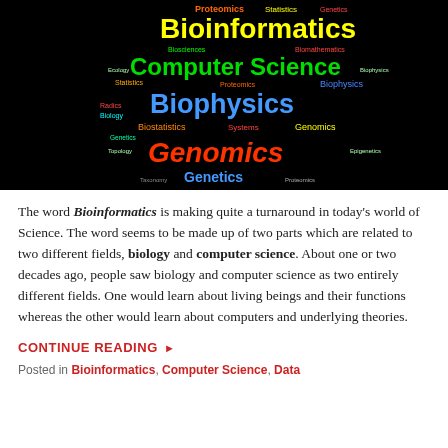[Figure (illustration): Word cloud on black background featuring terms related to bioinformatics: Bioinformatics (large yellow), Computer Science (large green), Biophysics (large blue), Genomics (large red/orange), Genetics (medium blue), Proteomics, Biostatistics, Statistics, Genetics, and many other smaller scientific terms in various colors.]
The word Bioinformatics is making quite a turnaround in today's world of Science. The word seems to be made up of two parts which are related to two different fields, biology and computer science. About one or two decades ago, people saw biology and computer science as two entirely different fields. One would learn about living beings and their functions whereas the other would learn about computers and underlying theories.
CONTINUE READING ▶
Posted in Bioinformatics, Computer Science, Data